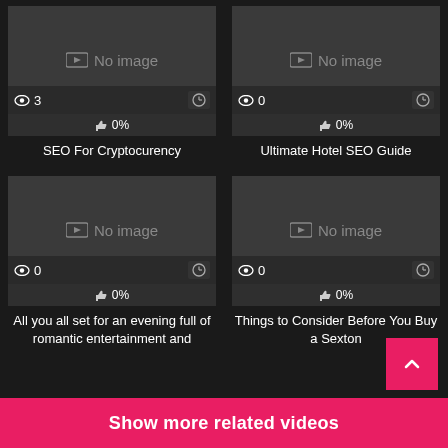[Figure (screenshot): Video thumbnail placeholder - No image, views: 3, 0% likes]
SEO For Cryptocurency
[Figure (screenshot): Video thumbnail placeholder - No image, views: 0, 0% likes]
Ultimate Hotel SEO Guide
[Figure (screenshot): Video thumbnail placeholder - No image, views: 0, 0% likes]
All you all set for an evening full of romantic entertainment and
[Figure (screenshot): Video thumbnail placeholder - No image, views: 0, 0% likes]
Things to Consider Before You Buy a Sexton
Show more related videos